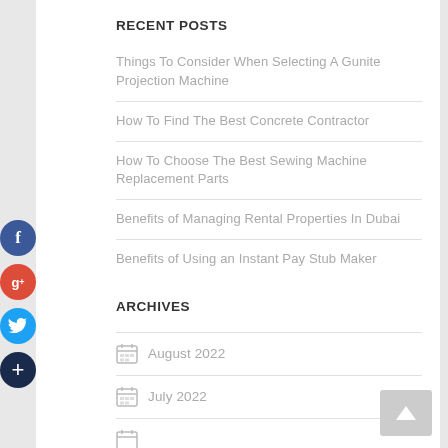RECENT POSTS
Things To Consider When Selecting A Gunite Projection Machine
How To Find The Best Concrete Contractor
How To Choose The Best Sewing Machine Replacement Parts
Benefits of Managing Rental Properties In Dubai
Benefits of Using an Instant Pay Stub Maker
ARCHIVES
August 2022
July 2022